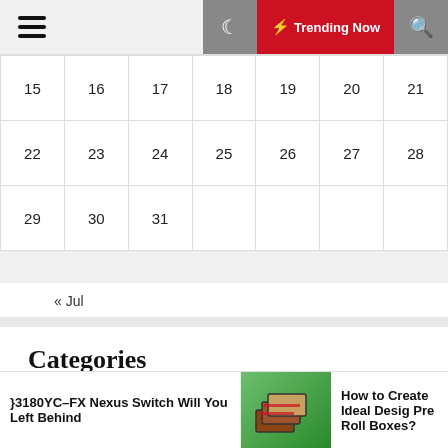Trending Now
| 15 | 16 | 17 | 18 | 19 | 20 | 21 |
| 22 | 23 | 24 | 25 | 26 | 27 | 28 |
| 29 | 30 | 31 |  |  |  |  |
« Jul
Categories
Art And Entertainment
Clinic
}3180YC–FX Nexus Switch Will You Left Behind | How to Create Ideal Desig Pre Roll Boxes?